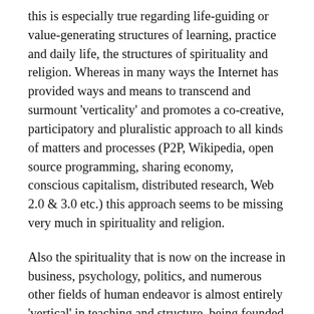this is especially true regarding life-guiding or value-generating structures of learning, practice and daily life, the structures of spirituality and religion. Whereas in many ways the Internet has provided ways and means to transcend and surmount 'verticality' and promotes a co-creative, participatory and pluralistic approach to all kinds of matters and processes (P2P, Wikipedia, open source programming, sharing economy, conscious capitalism, distributed research, Web 2.0 & 3.0 etc.) this approach seems to be missing very much in spirituality and religion.
Also the spirituality that is now on the increase in business, psychology, politics, and numerous other fields of human endeavor is almost entirely 'vertical' in teaching and structure, being founded mostly on what is often called perennial philosophy. This philosophy acertains that the material world is the shadow of a higher reality, that spirituality and religion (re)establish the link between